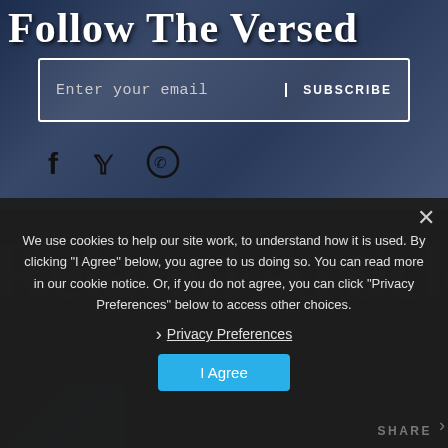Follow The Versed
Enter your email   SUBSCRIBE
[Figure (illustration): Social media icons: Facebook (f), Twitter (bird), WhatsApp (phone in circle)]
Related Articles
We use cookies to help our site work, to understand how it is used. By clicking “I Agree” below, you agree to us doing so. You can read more in our cookie notice. Or, if you do not agree, you can click "Privacy Preferences" below to access other choices.
› Privacy Preferences
I Agree
SHARE